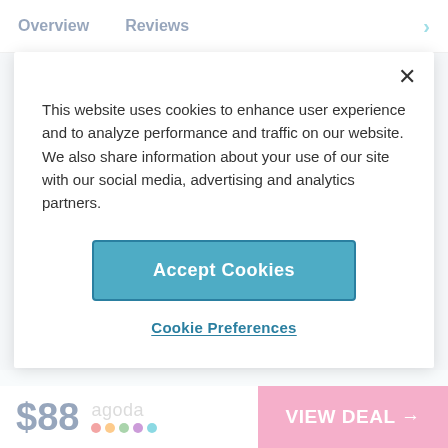Overview   Reviews
This website uses cookies to enhance user experience and to analyze performance and traffic on our website. We also share information about your use of our site with our social media, advertising and analytics partners.
Accept Cookies
Cookie Preferences
Bicycling
Museum/Cultural
$88 agoda  VIEW DEAL →